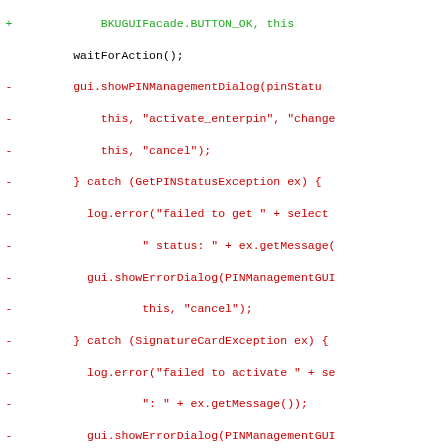[Figure (screenshot): Code diff showing Java source code changes with red lines (removed, marked with -) and green lines (added, marked with +). The code involves PIN management dialog, error handling, and card PIN change operations.]